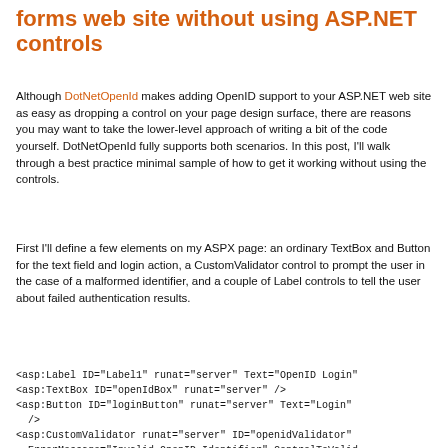forms web site without using ASP.NET controls
Although DotNetOpenId makes adding OpenID support to your ASP.NET web site as easy as dropping a control on your page design surface, there are reasons you may want to take the lower-level approach of writing a bit of the code yourself. DotNetOpenId fully supports both scenarios. In this post, I'll walk through a best practice minimal sample of how to get it working without using the controls.
First I'll define a few elements on my ASPX page: an ordinary TextBox and Button for the text field and login action, a CustomValidator control to prompt the user in the case of a malformed identifier, and a couple of Label controls to tell the user about failed authentication results.
<asp:Label ID="Label1" runat="server" Text="OpenID Login"
<asp:TextBox ID="openIdBox" runat="server" />
<asp:Button ID="loginButton" runat="server" Text="Login"
  OnClick="loginButton_Click" />
<asp:CustomValidator runat="server" ID="openidValidator"
  ErrorMessage="Invalid OpenID Identifier" ControlToValid